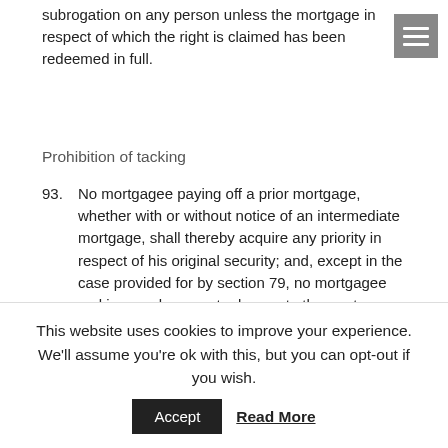subrogation on any person unless the mortgage in respect of which the right is claimed has been redeemed in full.
Prohibition of tacking
93. No mortgagee paying off a prior mortgage, whether with or without notice of an intermediate mortgage, shall thereby acquire any priority in respect of his original security; and, except in the case provided for by section 79, no mortgagee making a subsequent advance to the mortgagor, whether with or without notice of an
This website uses cookies to improve your experience. We'll assume you're ok with this, but you can opt-out if you wish.
Accept   Read More